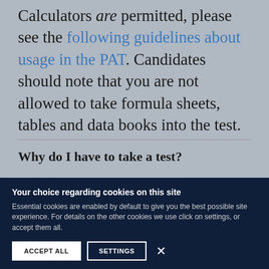Calculators are permitted, please see the following guidelines about usage in the PAT. Candidates should note that you are not allowed to take formula sheets, tables and data books into the test.
Why do I have to take a test?
Most applicants to Oxford University have great personal statements, excellent references, and are
Your choice regarding cookies on this site
Essential cookies are enabled by default to give you the best possible site experience. For details on the other cookies we use click on settings, or accept them all.